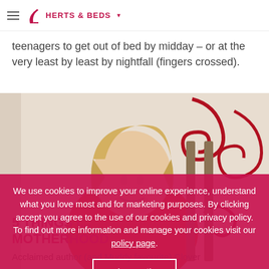HERTS & BEDS
teenagers to get out of bed by midday – or at the very least by least by nightfall (fingers crossed).
[Figure (photo): Woman with blonde hair wearing an orange sweater, leaning on her hand, posed in front of a decoratively wallpapered room with red ornate patterns.]
We use cookies to improve your online experience, understand what you love most and for marketing purposes. By clicking accept you agree to the use of our cookies and privacy policy. To find out more information and manage your cookies visit our policy page.
5 THINGS I... MOTHERHOOD
Acclaimed author (and Muddy favourite) Clover